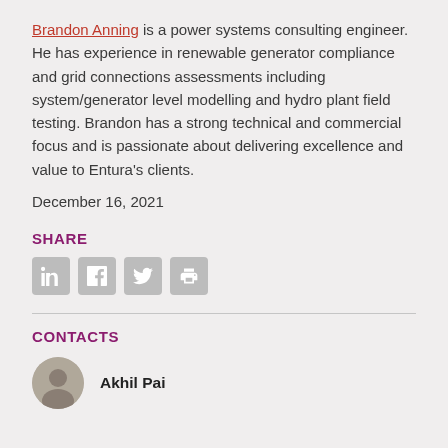Brandon Anning is a power systems consulting engineer. He has experience in renewable generator compliance and grid connections assessments including system/generator level modelling and hydro plant field testing. Brandon has a strong technical and commercial focus and is passionate about delivering excellence and value to Entura's clients.
December 16, 2021
SHARE
[Figure (other): Social sharing icons: LinkedIn, Facebook, Twitter, Print]
CONTACTS
Akhil Pai